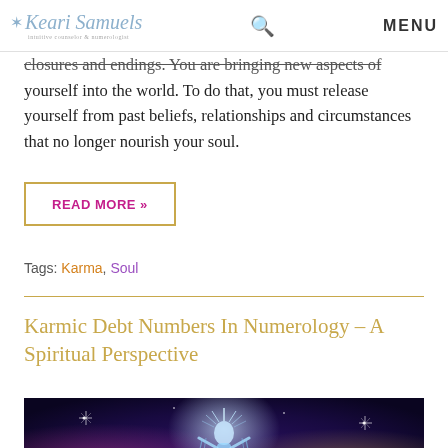Keari Samuels — MENU
closures and endings. You are bringing new aspects of yourself into the world. To do that, you must release yourself from past beliefs, relationships and circumstances that no longer nourish your soul.
READ MORE »
Tags: Karma, Soul
Karmic Debt Numbers In Numerology – A Spiritual Perspective
[Figure (photo): Mystical glowing figure with crown/rays standing with arms raised, surrounded by cosmic/space background with stars and light beams, representing spiritual numerology concept]